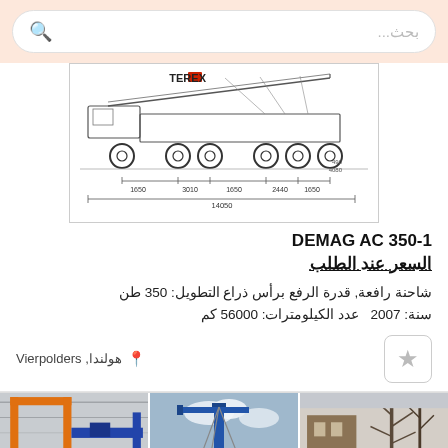بحث...
[Figure (engineering-diagram): Technical side-view schematic of a TEREX crane truck showing axle spacing dimensions. Numbers visible: 1650, 3010, 1650, 2440, 1650, 490, 4080, total 14050.]
DEMAG AC 350-1
السعر عند الطلب
شاحنة رافعة, قدرة الرفع برأس ذراع التطويل: 350 طن  سنة: 2007  عدد الكيلومترات: 56000 كم
هولندا, Vierpolders
[Figure (photo): Three thumbnail photos of cranes: left shows a crane near bare trees, center shows a blue crane lifting equipment against cloudy sky, right shows interior of a structure with orange and blue cranes with camera icon and number 12.]